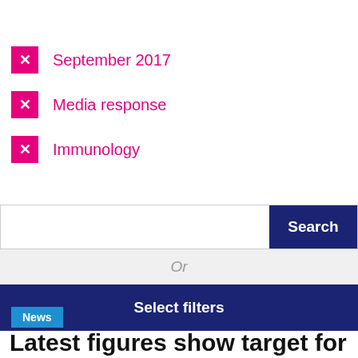✕ September 2017
✕ Media response
✕ Immunology
Search
Or
Select filters
News
Latest figures show target for MMR vaccination for fi…